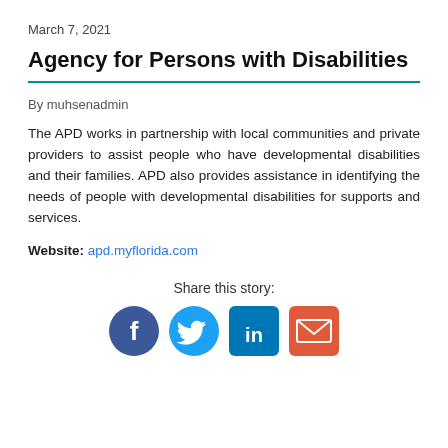March 7, 2021
Agency for Persons with Disabilities
By muhsenadmin
The APD works in partnership with local communities and private providers to assist people who have developmental disabilities and their families. APD also provides assistance in identifying the needs of people with developmental disabilities for supports and services.
Website: apd.myflorida.com
Share this story:
[Figure (infographic): Social media sharing icons: Facebook (blue circle with f), Twitter (blue bird), LinkedIn (teal square with in), Email (red envelope)]